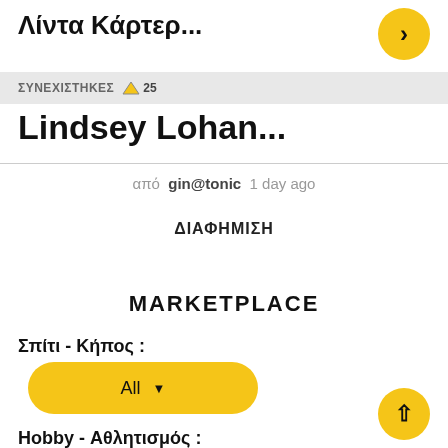Λίντα Κάρτερ...
ΣΥΝΕΧΙΣΤΗΚΕΣ 25
Lindsey Lohan...
από gin@tonic 1 day ago
ΔΙΑΦΗΜΙΣΗ
MARKETPLACE
Σπίτι - Κήπος :
All
Hobby - Αθλητισμός :
All